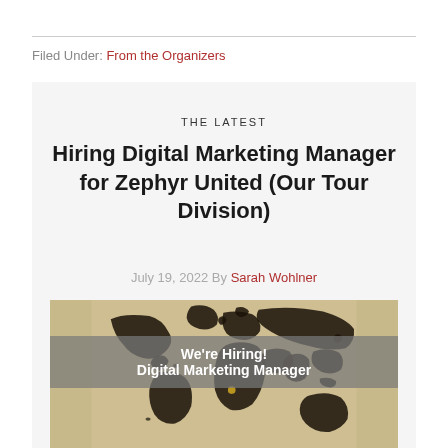Filed Under: From the Organizers
THE LATEST
Hiring Digital Marketing Manager for Zephyr United (Our Tour Division)
July 19, 2022 By Sarah Wohlner
[Figure (photo): Vintage world map image with a gray banner overlay reading 'We're Hiring! Digital Marketing Manager']